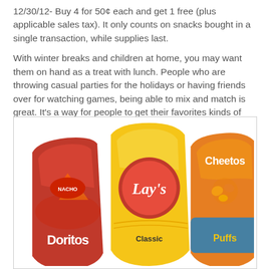12/30/12- Buy 4 for 50¢ each and get 1 free (plus applicable sales tax). It only counts on snacks bought in a single transaction, while supplies last.
With winter breaks and children at home, you may want them on hand as a treat with lunch. People who are throwing casual parties for the holidays or having friends over for watching games, being able to mix and match is great. It's a way for people to get their favorites kinds of chips. Frito-Lay @ Dollar General, it's a great thing.
[Figure (photo): Three snack chip bags: Doritos (red bag), Lay's Classic (yellow bag), and Cheetos Puffs (orange bag) arranged side by side]